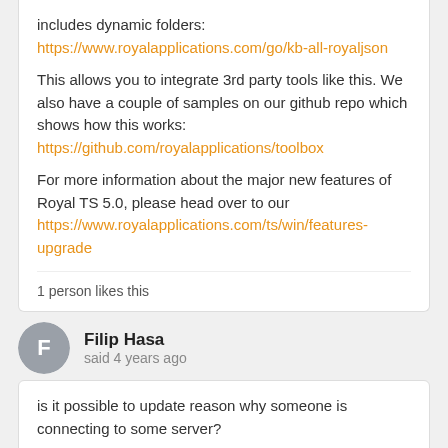includes dynamic folders:
https://www.royalapplications.com/go/kb-all-royaljson

This allows you to integrate 3rd party tools like this. We also have a couple of samples on our github repo which shows how this works:
https://github.com/royalapplications/toolbox

For more information about the major new features of Royal TS 5.0, please head over to our
https://www.royalapplications.com/ts/win/features-upgrade
1 person likes this
Filip Hasa
said 4 years ago
is it possible to update reason why someone is connecting to some server?
Stefan Koell
said 4 years ago